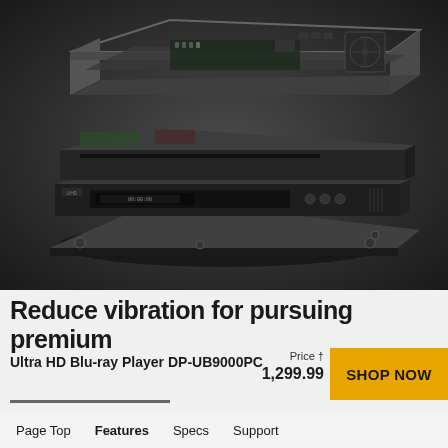[Figure (photo): Exploded view of a Panasonic Ultra HD Blu-ray Player DP-UB9000PC showing separated internal components — chassis layers, mainboard, drive unit, and outer shell — on a dark gray gradient background.]
Reduce vibration for pursuing premium
Ultra HD Blu-ray Player DP-UB9000PC
Price † 1,299.99
SHOP NOW
Page Top   Features   Specs   Support